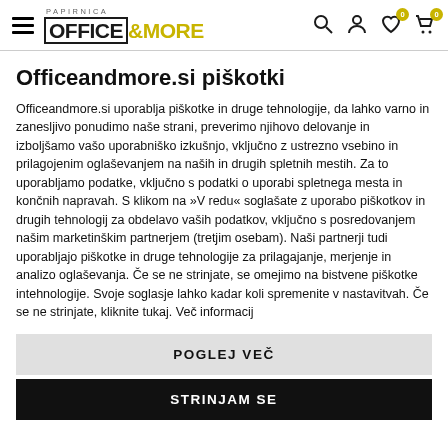PAPIRNICA OFFICE&MORE
Officeandmore.si piškotki
Officeandmore.si uporablja piškotke in druge tehnologije, da lahko varno in zanesljivo ponudimo naše strani, preverimo njihovo delovanje in izboljšamo vašo uporabniško izkušnjo, vključno z ustrezno vsebino in prilagojenim oglaševanjem na naših in drugih spletnih mestih. Za to uporabljamo podatke, vključno s podatki o uporabi spletnega mesta in končnih napravah. S klikom na »V redu« soglašate z uporabo piškotkov in drugih tehnologij za obdelavo vaših podatkov, vključno s posredovanjem našim marketinškim partnerjem (tretjim osebam). Naši partnerji tudi uporabljajo piškotke in druge tehnologije za prilagajanje, merjenje in analizo oglaševanja. Če se ne strinjate, se omejimo na bistvene piškotke intehnologije. Svoje soglasje lahko kadar koli spremenite v nastavitvah. Če se ne strinjate, kliknite tukaj. Več informacij
POGLEJ VEČ
STRINJAM SE